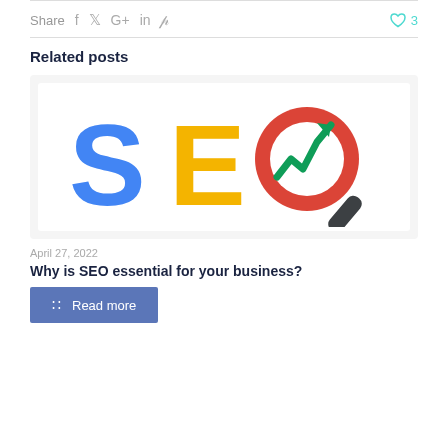Share  f  𝕏  G+  in  𝑃   ♡ 3
Related posts
[Figure (illustration): SEO logo: large blue 'S', yellow 'E', red 'O' styled as magnifying glass with green upward trending arrow chart inside, and dark grey magnifying glass handle]
April 27, 2022
Why is SEO essential for your business?
Read more